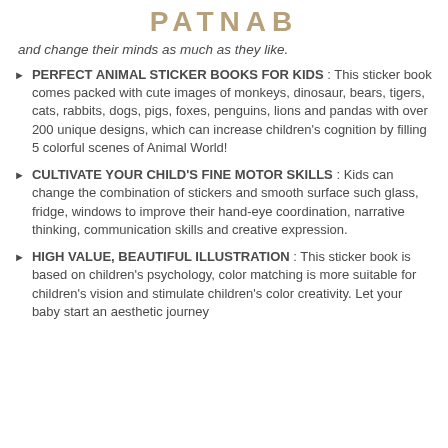PATNAB
and change their minds as much as they like.
PERFECT ANIMAL STICKER BOOKS FOR KIDS : This sticker book comes packed with cute images of monkeys, dinosaur, bears, tigers, cats, rabbits, dogs, pigs, foxes, penguins, lions and pandas with over 200 unique designs, which can increase children's cognition by filling 5 colorful scenes of Animal World!
CULTIVATE YOUR CHILD'S FINE MOTOR SKILLS : Kids can change the combination of stickers and smooth surface such glass, fridge, windows to improve their hand-eye coordination, narrative thinking, communication skills and creative expression.
HIGH VALUE, BEAUTIFUL ILLUSTRATION : This sticker book is based on children's psychology, color matching is more suitable for children's vision and stimulate children's color creativity. Let your baby start an aesthetic journey